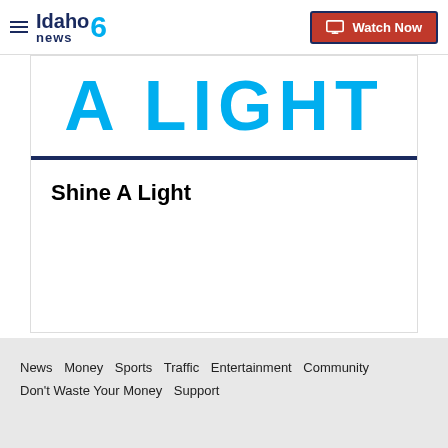Idaho News 6 — Watch Now
[Figure (screenshot): Partial banner image showing 'A LIGHT' text in large cyan letters on white background]
Shine A Light
News  Money  Sports  Traffic  Entertainment  Community  Don't Waste Your Money  Support